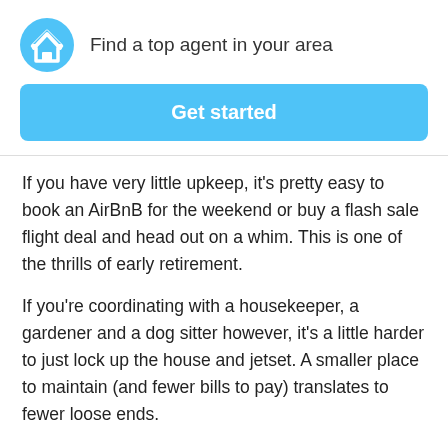Find a top agent in your area
[Figure (logo): HomeLight logo: circular blue badge with white chevron/arrow and house icon]
Get started
If you have very little upkeep, it’s pretty easy to book an AirBnB for the weekend or buy a flash sale flight deal and head out on a whim. This is one of the thrills of early retirement.
If you’re coordinating with a housekeeper, a gardener and a dog sitter however, it’s a little harder to just lock up the house and jetset. A smaller place to maintain (and fewer bills to pay) translates to fewer loose ends.